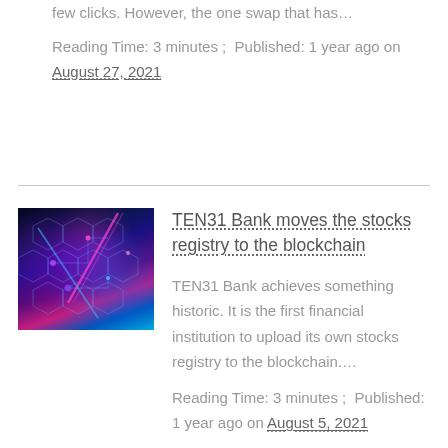few clicks. However, the one swap that has...
Reading Time: 3 minutes ;  Published: 1 year ago on August 27, 2021
[Figure (photo): Dark blue and purple glowing digital blockchain/technology themed image with hexagonal patterns and light streaks in pink and blue]
TEN31 Bank moves the stocks registry to the blockchain
TEN31 Bank achieves something historic. It is the first financial institution to upload its own stocks registry to the blockchain....
Reading Time: 3 minutes ;  Published: 1 year ago on August 5, 2021